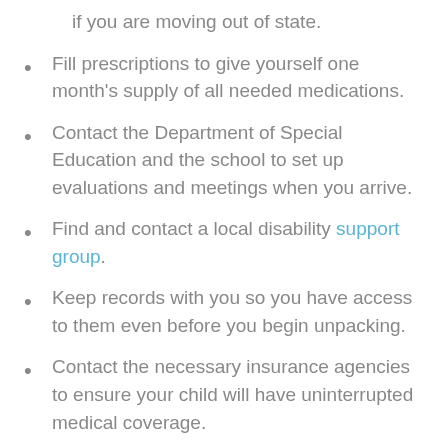if you are moving out of state.
Fill prescriptions to give yourself one month's supply of all needed medications.
Contact the Department of Special Education and the school to set up evaluations and meetings when you arrive.
Find and contact a local disability support group.
Keep records with you so you have access to them even before you begin unpacking.
Contact the necessary insurance agencies to ensure your child will have uninterrupted medical coverage.
Start preparing your child for the changes ahead.